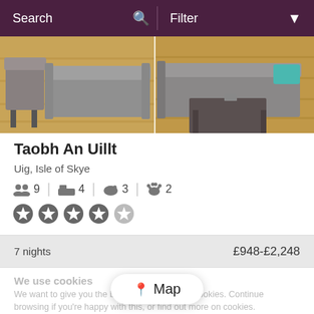Search   Filter
[Figure (photo): Interior photo of a living room with grey sofas, wooden floor, and a dark coffee table]
Taobh An Uillt
Uig, Isle of Skye
9 guests  4 bedrooms  3 bathrooms  2 pets
4 out of 5 stars rating
7 nights   £948-£2,248
We use cookies
We want to give you the best service by using cookies. Continue browsing if you're happy with this, or find out more on cookies.
Map